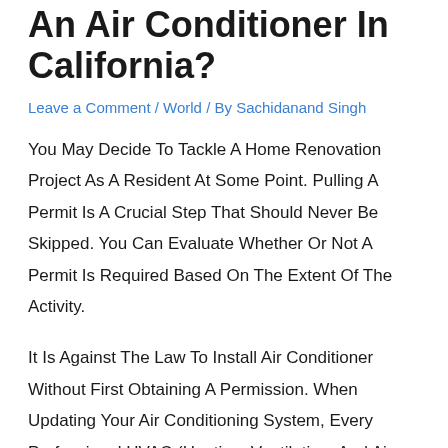An Air Conditioner In California?
Leave a Comment / World / By Sachidanand Singh
You May Decide To Tackle A Home Renovation Project As A Resident At Some Point. Pulling A Permit Is A Crucial Step That Should Never Be Skipped. You Can Evaluate Whether Or Not A Permit Is Required Based On The Extent Of The Activity.
It Is Against The Law To Install Air Conditioner Without First Obtaining A Permission. When Updating Your Air Conditioning System, Every Professional HVAC (Heating, Ventilation, And Air